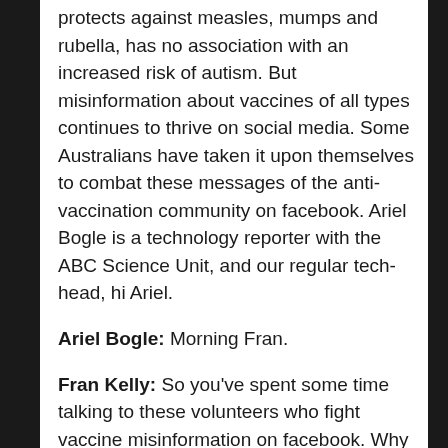protects against measles, mumps and rubella, has no association with an increased risk of autism. But misinformation about vaccines of all types continues to thrive on social media. Some Australians have taken it upon themselves to combat these messages of the anti-vaccination community on facebook. Ariel Bogle is a technology reporter with the ABC Science Unit, and our regular tech-head, hi Ariel.
Ariel Bogle: Morning Fran.
Fran Kelly: So you've spent some time talking to these volunteers who fight vaccine misinformation on facebook. Why do they do it, and is it working, does it work for them?
Ariel Bogle: Well I think these people in general feel a passion, they want to protect children and they